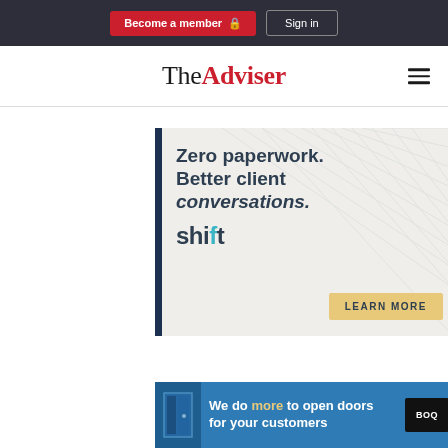Become a member  Sign in
TheAdviser
[Figure (illustration): Shift advertisement banner: 'Zero paperwork. Better client conversations.' with shift logo and LEARN MORE button on beige background with architectural line art]
[Figure (illustration): BOQ advertisement banner: 'We do more to open doors for your customers' on blue background with door icon and BOQ logo]